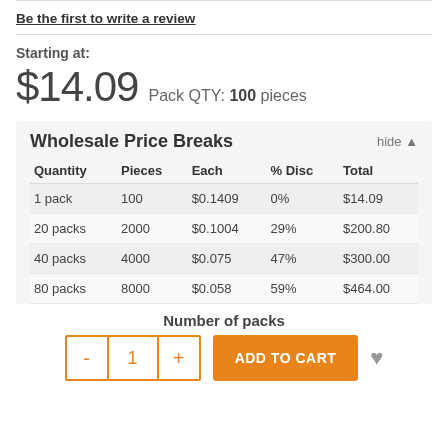Be the first to write a review
Starting at:
$14.09 Pack QTY: 100 pieces
Wholesale Price Breaks
| Quantity | Pieces | Each | % Disc | Total |
| --- | --- | --- | --- | --- |
| 1 pack | 100 | $0.1409 | 0% | $14.09 |
| 20 packs | 2000 | $0.1004 | 29% | $200.80 |
| 40 packs | 4000 | $0.075 | 47% | $300.00 |
| 80 packs | 8000 | $0.058 | 59% | $464.00 |
Number of packs